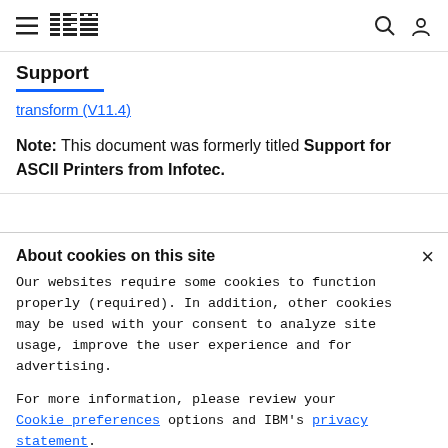IBM Support
transform (V11.4)
Note: This document was formerly titled Support for ASCII Printers from Infotec.
About cookies on this site
Our websites require some cookies to function properly (required). In addition, other cookies may be used with your consent to analyze site usage, improve the user experience and for advertising.
For more information, please review your Cookie preferences options and IBM's privacy statement.
Required only
Accept all